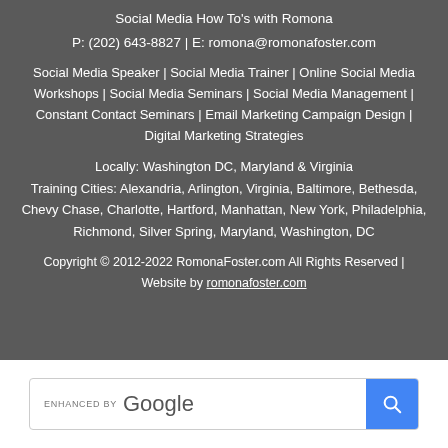Social Media How To's with Romona
P: (202) 643-8827 | E: romona@romonafoster.com
Social Media Speaker | Social Media Trainer | Online Social Media Workshops | Social Media Seminars | Social Media Management | Constant Contact Seminars | Email Marketing Campaign Design | Digital Marketing Strategies
Locally: Washington DC, Maryland & Virginia
Training Cities: Alexandria, Arlington, Virginia, Baltimore, Bethesda, Chevy Chase, Charlotte, Hartford, Manhattan, New York, Philadelphia, Richmond, Silver Spring, Maryland, Washington, DC
Copyright © 2012-2022 RomonaFoster.com All Rights Reserved | Website by romonafoster.com
[Figure (other): Enhanced by Google search bar with blue search button]